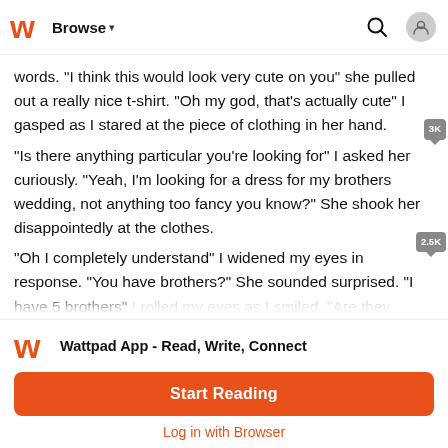Browse
words. "I think this would look very cute on you" she pulled out a really nice t-shirt. "Oh my god, that's actually cute" I gasped as I stared at the piece of clothing in her hand.
"Is there anything particular you're looking for" I asked her curiously. "Yeah, I'm looking for a dress for my brothers wedding, not anything too fancy you know?" She shook her disappointedly at the clothes.
"Oh I completely understand" I widened my eyes in response. "You have brothers?" She sounded surprised. "I have 5 brothers" I rolled my eyes as I smiled. "Are they cute?" She asked excitedly
Wattpad App - Read, Write, Connect
Start Reading
Log in with Browser